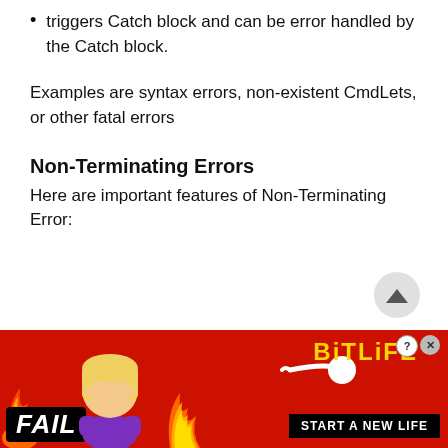triggers Catch block and can be error handled by the Catch block.
Examples are syntax errors, non-existent CmdLets, or other fatal errors
Non-Terminating Errors
Here are important features of Non-Terminating Error:
[Figure (illustration): Advertisement banner for BitLife mobile game showing 'FAIL' label, animated female character facepalming, flames, a sperm icon, BitLife logo in gold, and 'START A NEW LIFE' button on red background with close/help buttons.]